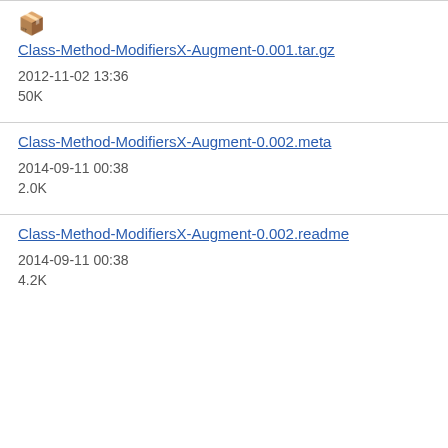[Figure (other): Box/package emoji icon]
Class-Method-ModifiersX-Augment-0.001.tar.gz
2012-11-02 13:36
50K
Class-Method-ModifiersX-Augment-0.002.meta
2014-09-11 00:38
2.0K
Class-Method-ModifiersX-Augment-0.002.readme
2014-09-11 00:38
4.2K